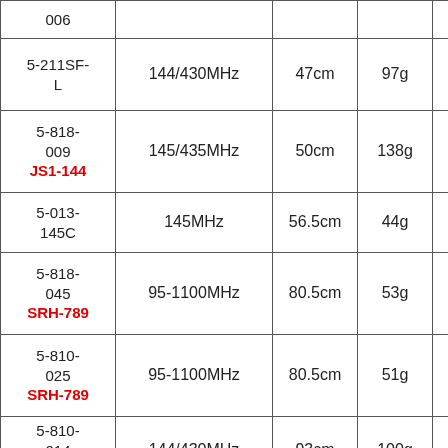| Model | Frequency | Length | Weight |  |
| --- | --- | --- | --- | --- |
| 006 |  |  |  |  |
| 5-211SF-L | 144/430MHz | 47cm | 97g |  |
| 5-818-009
JS1-144 | 145/435MHz | 50cm | 138g |  |
| 5-013-145C | 145MHz | 56.5cm | 44g |  |
| 5-818-045
SRH-789 | 95-1100MHz | 80.5cm | 53g |  |
| 5-810-025
SRH-789 | 95-1100MHz | 80.5cm | 51g |  |
| 5-810-014
RH770 | 144/430MHz | 93cm | 100g |  |